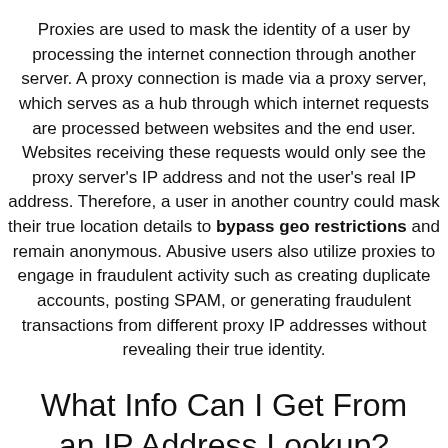Proxies are used to mask the identity of a user by processing the internet connection through another server. A proxy connection is made via a proxy server, which serves as a hub through which internet requests are processed between websites and the end user. Websites receiving these requests would only see the proxy server's IP address and not the user's real IP address. Therefore, a user in another country could mask their true location details to bypass geo restrictions and remain anonymous. Abusive users also utilize proxies to engage in fraudulent activity such as creating duplicate accounts, posting SPAM, or generating fraudulent transactions from different proxy IP addresses without revealing their true identity.
What Info Can I Get From an IP Address Lookup?